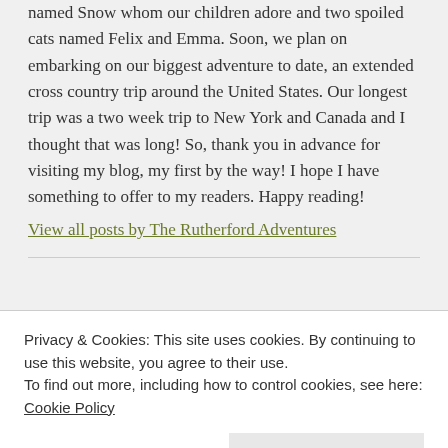named Snow whom our children adore and two spoiled cats named Felix and Emma. Soon, we plan on embarking on our biggest adventure to date, an extended cross country trip around the United States. Our longest trip was a two week trip to New York and Canada and I thought that was long! So, thank you in advance for visiting my blog, my first by the way! I hope I have something to offer to my readers. Happy reading!
View all posts by The Rutherford Adventures
Privacy & Cookies: This site uses cookies. By continuing to use this website, you agree to their use.
To find out more, including how to control cookies, see here:
Cookie Policy
Close and accept
2 thoughts on “A Tip for Ticks”